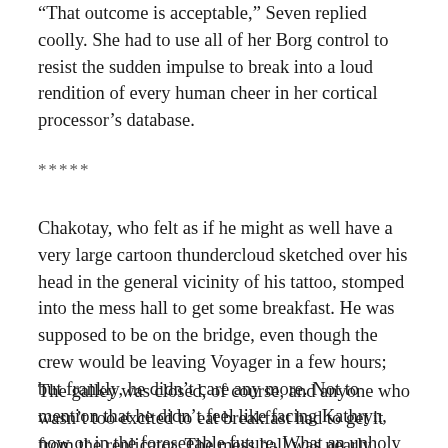“That outcome is acceptable,” Seven replied coolly. She had to use all of her Borg control to resist the sudden impulse to break into a loud rendition of every human cheer in her cortical processor’s database.
*****
Chakotay, who felt as if he might as well have a very large cartoon thundercloud sketched over his head in the general vicinity of his tattoo, stomped into the mess hall to get some breakfast. He was supposed to be on the bridge, even though the crew would be leaving Voyager in a few hours; but frankly, he didn’t care any more. Not to mention that he didn’t feel like facing Kathryn, now or in the foreseeable future. What an unholy fiasco.
The galley was closed, of course, and anyone who wasn’t too excited to eat breakfast had to get it from the replicator. The mess hall was nearly deserted. Harry Kim sat across the room with his usual bowl of cornflakes, alone, of course. Chakotay got some hash browns and cantaloupe from the replicator before joining the ensign. Might as well